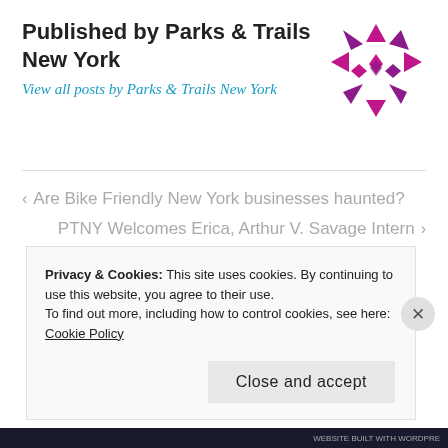Published by Parks & Trails New York
View all posts by Parks & Trails New York
[Figure (logo): Parks & Trails New York logo — magenta/purple geometric snowflake-like shape made of triangles and diamond shapes]
< Are Bike Friendly New York businesses haunted?
PTNY Welcomes Erica, Arthur V. Savage Intern >
Privacy & Cookies: This site uses cookies. By continuing to use this website, you agree to their use.
To find out more, including how to control cookies, see here: Cookie Policy
Close and accept